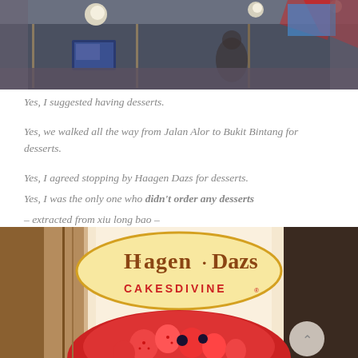[Figure (photo): Interior of a restaurant or shop with hanging globe lights and reflective surfaces, people visible in background]
Yes, I suggested having desserts.
Yes, we walked all the way from Jalan Alor to Bukit Bintang for desserts.
Yes, I agreed stopping by Haagen Dazs for desserts.
Yes, I was the only one who didn't order any desserts
– extracted from xiu long bao –
[Figure (photo): Häagen-Dazs Cakes Divine storefront sign with strawberry cake visible at the bottom]